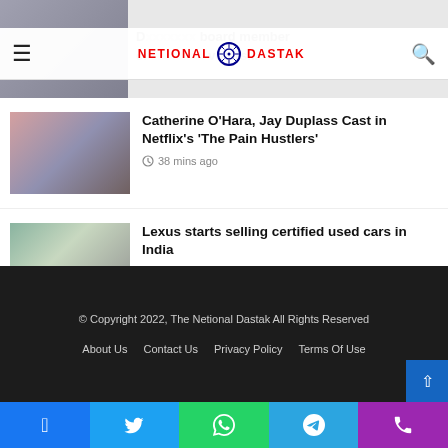NETIONAL DASTAK
[Figure (photo): Partially visible top article with photo and partially obscured headline text mentioning 'board member' and 'voters']
[Figure (photo): Photo of three people: a blonde woman and two men]
Catherine O’Hara, Jay Duplass Cast in Netflix’s ‘The Pain Hustlers’
38 mins ago
[Figure (photo): Photo of a white Lexus SUV on a scenic road with mountains in background]
Lexus starts selling certified used cars in India
40 mins ago
© Copyright 2022, The Netional Dastak All Rights Reserved
About Us   Contact Us   Privacy Policy   Terms Of Use